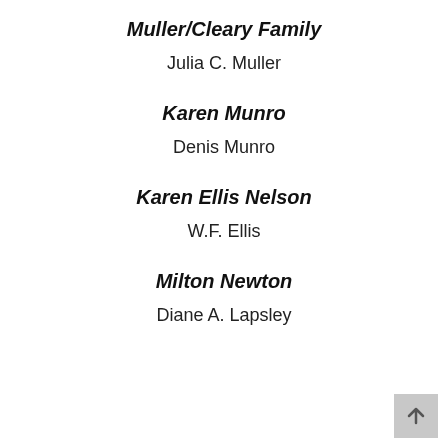Muller/Cleary Family
Julia C. Muller
Karen Munro
Denis Munro
Karen Ellis Nelson
W.F. Ellis
Milton Newton
Diane A. Lapsley